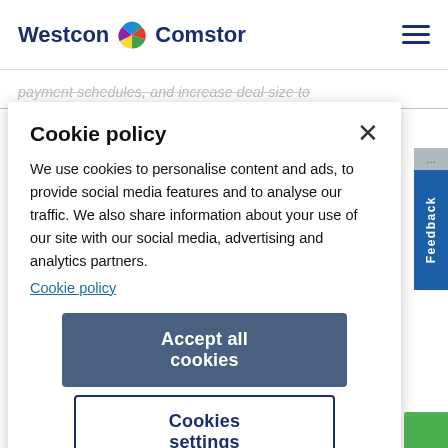Westcon Comstor
payment schedules, and increase deal size to
Cookie policy
We use cookies to personalise content and ads, to provide social media features and to analyse our traffic. We also share information about your use of our site with our social media, advertising and analytics partners.
Cookie policy
Accept all cookies
Cookies settings